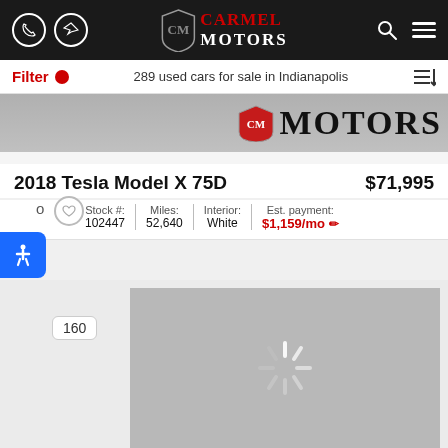Carmel Motors
Filter  289 used cars for sale in Indianapolis
[Figure (photo): Car dealership banner image showing Motors watermark text on gray background]
2018 Tesla Model X 75D
$71,995
Stock #: 102447 | Miles: 52,640 | Interior: White | Est. payment: $1,159/mo
[Figure (photo): Gray loading placeholder for car image with spinning loader icon]